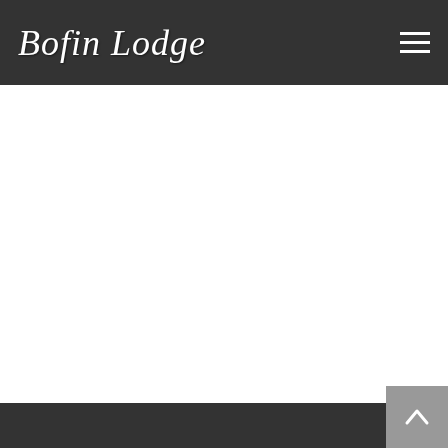Bofin Lodge
[Figure (screenshot): White blank main content area of a webpage]
Footer bar with back-to-top button